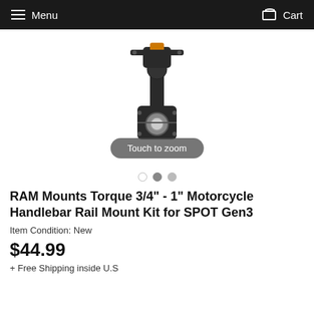Menu  Cart
[Figure (photo): Close-up photo of a RAM Mounts Torque motorcycle handlebar rail mount kit, showing a black metal clamp-style mount with ball joint connector against a white background]
Touch to zoom
RAM Mounts Torque 3/4" - 1" Motorcycle Handlebar Rail Mount Kit for SPOT Gen3
Item Condition: New
$44.99
+ Free Shipping inside U.S